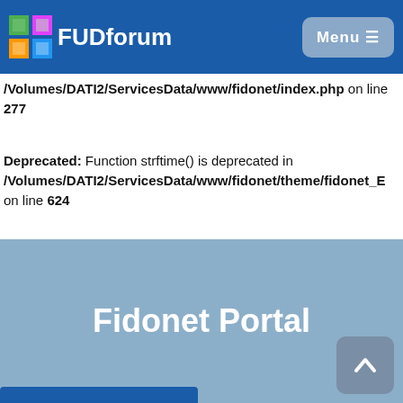FUDforum | Menu
/Volumes/DATI2/ServicesData/www/fidonet/index.php on line 277
Deprecated: Function strftime() is deprecated in /Volumes/DATI2/ServicesData/www/fidonet/theme/fidonet_E on line 624
Fidonet Portal